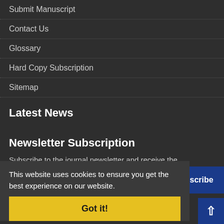Submit Manuscript
Contact Us
Glossary
Hard Copy Subscription
Sitemap
Latest News
Newsletter Subscription
Subscribe to the journal newsletter and receive the latest news and updates
This website uses cookies to ensure you get the best experience on our website.
Got it!
© Journal Management System. Powered by Sinaweb